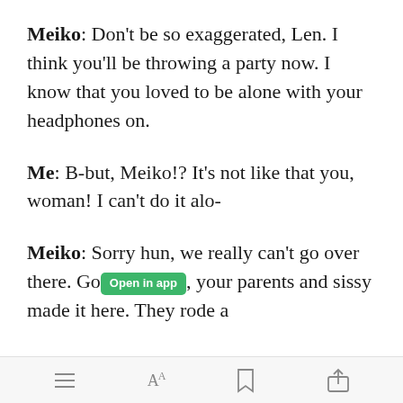Meiko: Don't be so exaggerated, Len. I think you'll be throwing a party now. I know that you loved to be alone with your headphones on.
Me: B-but, Meiko!? It's not like that you, woman! I can't do it alo-
Meiko: Sorry hun, we really can't go over there. Go [Open in app], your parents and sissy made it here. They rode a
[Figure (screenshot): Mobile app toolbar with four icons: hamburger menu, font size (AA), bookmark, and share]